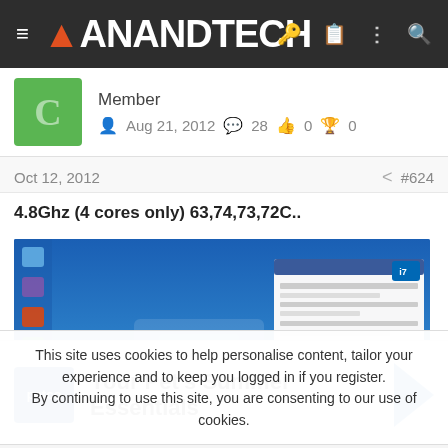AnandTech
Member
Aug 21, 2012  28  0  0
Oct 12, 2012  #624
4.8Ghz (4 cores only) 63,74,73,72C..
[Figure (screenshot): Windows desktop screenshot showing CPU benchmark/overclock utility windows on a blue desktop background, with photobucket watermark]
This site uses cookies to help personalise content, tailor your experience and to keep you logged in if you register.
By continuing to use this site, you are consenting to our use of cookies.
petco  Your Pet's Summer Essentials